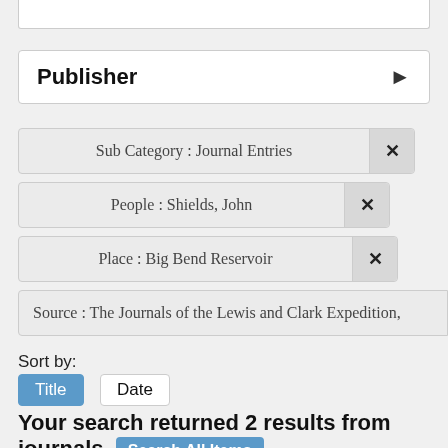Publisher
Sub Category : Journal Entries
People : Shields, John
Place : Big Bend Reservoir
Source : The Journals of the Lewis and Clark Expedition,
Sort by:
Title
Date
Your search returned 2 results from journals  Search All Items